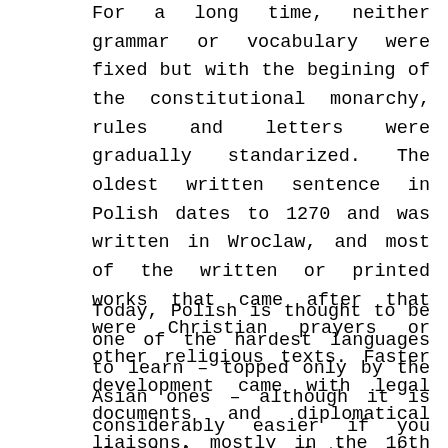For a long time, neither grammar or vocabulary were fixed but with the begining of the constitutional monarchy, rules and letters were gradually standarized. The oldest written sentence in Polish dates to 1270 and was written in Wroclaw, and most of the written or printed works that came after that were Christian prayers or other religious texts. Faster development came with legal documents and diplomatical liaisons, mostly in the 16th century when Poland became the center of Eastern Europe's politics.
Today, Polish is thought to be one of the hardest languages to learn – topped only by the Asian ones – although it is considerably easier if you already know one of the other Slavic languages. Currently there are abour 40 million people in the world whose